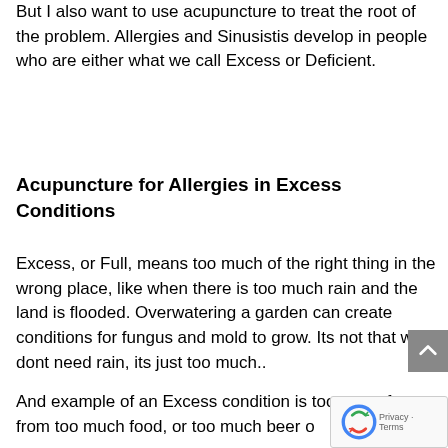But I also want to use acupuncture to treat the root of the problem.  Allergies and Sinusistis develop in people who are either what we call Excess or Deficient.
Acupuncture for Allergies in Excess Conditions
Excess, or Full,  means too much of the right thing in the wrong place, like when there is too much rain and the land is flooded. Overwatering a garden can create conditions for fungus and mold to grow. Its not that we dont need rain, its just too much..
And example of an Excess condition is too much fat from too much food, or too much beer or